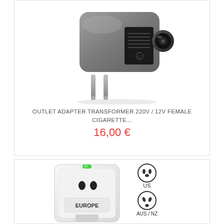[Figure (photo): Grey 220V to 12V outlet adapter transformer with European plug pins and cigarette lighter socket]
OUTLET ADAPTER TRANSFORMER 220V / 12V FEMALE CIGARETTE...
16,00 €
[Figure (photo): White universal travel adapter with green LED indicator, showing EUROPE label and US/AUS NZ plug type icons on the side]